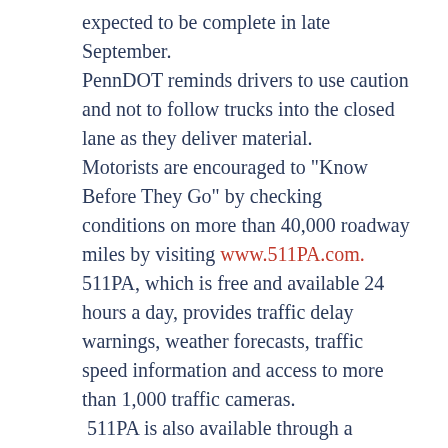expected to be complete in late September. PennDOT reminds drivers to use caution and not to follow trucks into the closed lane as they deliver material. Motorists are encouraged to "Know Before They Go" by checking conditions on more than 40,000 roadway miles by visiting www.511PA.com. 511PA, which is free and available 24 hours a day, provides traffic delay warnings, weather forecasts, traffic speed information and access to more than 1,000 traffic cameras. 511PA is also available through a smartphone application for iPhone and Android devices, by calling 5-1-1